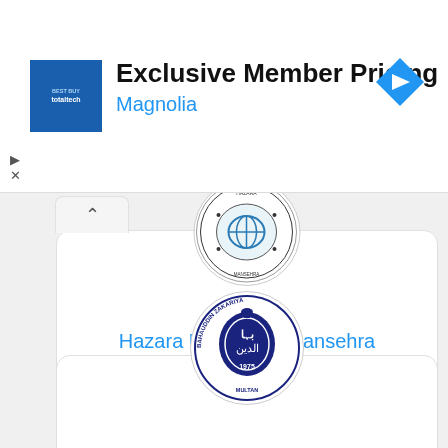[Figure (screenshot): Advertisement banner with totaltech logo on left, text 'Exclusive Member Pricing' in bold black and 'Magnolia' in blue, and a blue navigation arrow icon on the right]
[Figure (logo): Circular university seal/crest of Hazara University, Mansehra - partially cropped at top]
Hazara University, Mansehra
Public
[Figure (logo): Circular university seal of Bahauddin Zakariya University (BZU), Multan - dark blue circular emblem with 1975 text]
Bahauddin Zakariya University (BZU), Multan
Public